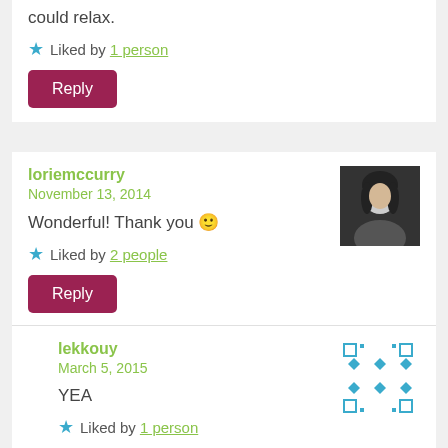could relax.
★ Liked by 1 person
Reply
loriemccurry
November 13, 2014
Wonderful! Thank you 🙂
★ Liked by 2 people
Reply
lekkouy
March 5, 2015
YEA
★ Liked by 1 person